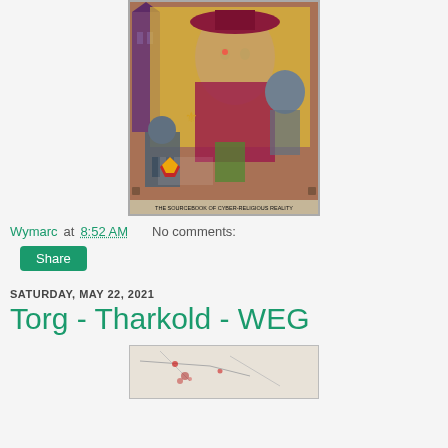[Figure (illustration): Book cover art for a tabletop RPG sourcebook - colorful illustration featuring a villain character in ornate clothing, a cybernetic figure, cathedral in background, and text 'THE SOURCEBOOK OF CYBER-RELIGIOUS REALITY'. West End Games logo visible.]
Wymarc at 8:52 AM    No comments:
Share
SATURDAY, MAY 22, 2021
Torg - Tharkold - WEG
[Figure (illustration): Partial view of another book cover or game material, mostly white/beige with some red marks, cropped at bottom of page.]